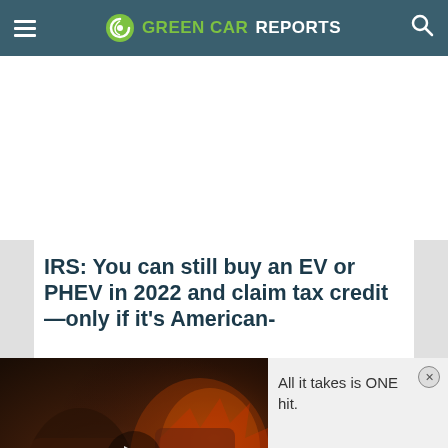GREEN CAR REPORTS
IRS: You can still buy an EV or PHEV in 2022 and claim tax credit—only if it's American-
[Figure (screenshot): Video player thumbnail showing animated game characters with a play button overlay]
All it takes is ONE hit.
[Figure (infographic): Advertisement banner: HC logo, 'View store hours, get directions, or call your salon!' with navigation arrow icon]